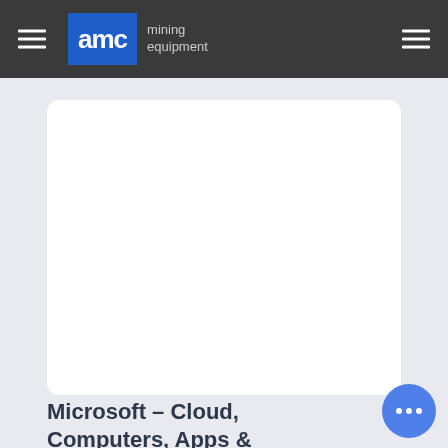AMC mining equipment
[Figure (other): White rounded rectangle card placeholder area]
Microsoft – Cloud, Computers, Apps & Gaming
Explore Microsoft products and services for your